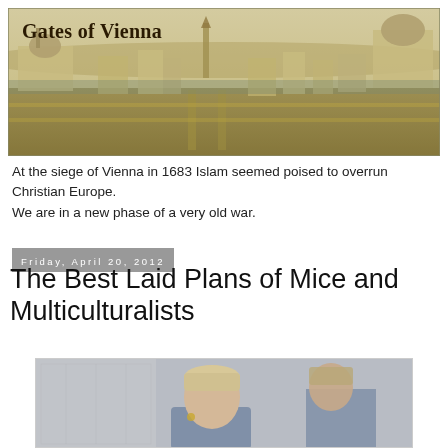[Figure (illustration): Gates of Vienna blog banner header showing a historical panoramic cityscape of Vienna with domed buildings, the Belvedere gardens, and church spires in a sepia/ochre tone. The text 'Gates of Vienna' appears in bold serif font at the upper left.]
At the siege of Vienna in 1683 Islam seemed poised to overrun Christian Europe.
We are in a new phase of a very old war.
Friday, April 20, 2012
The Best Laid Plans of Mice and Multiculturalists
[Figure (photo): Partial photograph showing a person with light hair wearing a blue/grey uniform shirt, visible from chest upward, with another person partially visible behind them. Background appears to be an interior setting.]